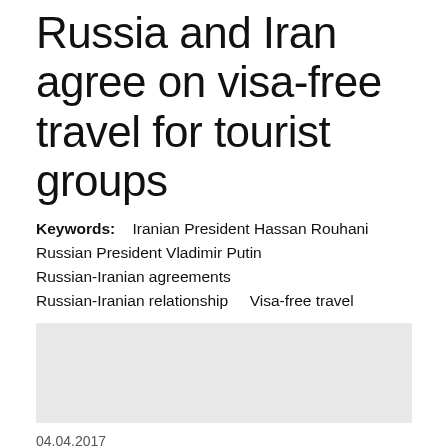Russia and Iran agree on visa-free travel for tourist groups
Keywords: Iranian President Hassan Rouhani Russian President Vladimir Putin Russian-Iranian agreements Russian-Iranian relationship Visa-free travel
[Figure (other): Advertisement/placeholder grey box]
04.04.2017
[Figure (other): Social media sharing icons: Twitter, Facebook, VK, Google+]
Iran and Russia have signed a visa-free